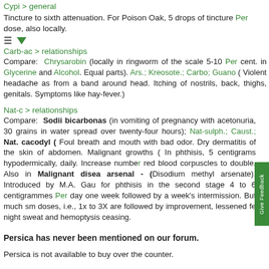Cypi > general
Tincture to sixth attenuation. For Poison Oak, 5 drops of tincture Per dose, also locally.
≡ ▼
Carb-ac > relationships
Compare: Chrysarobin (locally in ringworm of the scale 5-10 Per cent. in Glycerine and Alcohol. Equal parts). Ars.; Kreosote.; Carbo; Guano ( Violent headache as from a band around head. Itching of nostrils, back, thighs, genitals. Symptoms like hay-fever.)
Nat-c > relationships
Compare: Sodii bicarbonas (in vomiting of pregnancy with acetonuria, 30 grains in water spread over twenty-four hours); Nat-sulph.; Caust.; Nat. cacodyl ( Foul breath and mouth with bad odor. Dry dermatitis of the skin of abdomen. Malignant growths ( In phthisis, 5 centigrams hypodermically, daily. Increase number red blood corpuscles to double. Also in Malignant disea arsenal - (Disodium methyl arsenate). Introduced by M.A. Gau for phthisis in the second stage 4 to 6 centigrammes Per day one week followed by a week's intermission. But much sm doses, i.e., 1x to 3X are followed by improvement, lessened fe night sweat and hemoptysis ceasing.
Persica has never been mentioned on our forum.
Persica is not available to buy over the counter.
Site contents and design © Copyright 2001-21 Influenca ltd. All